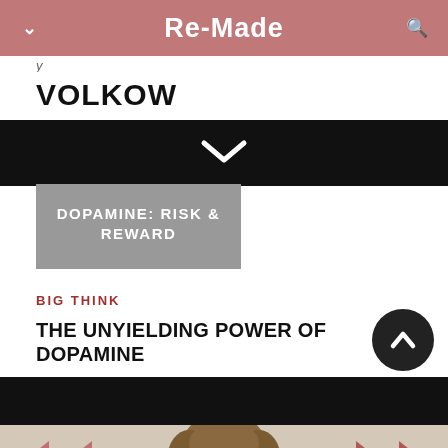Re-Made
VOLKOW
[Figure (screenshot): Black banner with white chevron/down arrow in the center]
DOPAMINE: RISK & REWARD
BIG THINK
THE UNYIELDING POWER OF DOPAMINE
[Figure (photo): Person with curly hair, photo partially visible at bottom of page]
[Figure (infographic): Navigation arrows (left and right) in mauve/rose color at bottom]